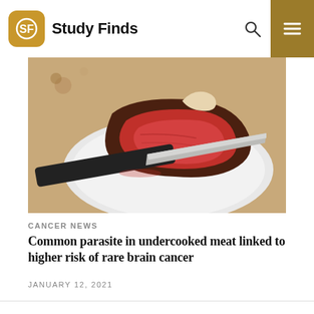Study Finds
[Figure (photo): A rare cooked steak on a white plate with a knife, meat appears red/undercooked in the center, on a wooden surface]
CANCER NEWS
Common parasite in undercooked meat linked to higher risk of rare brain cancer
JANUARY 12, 2021